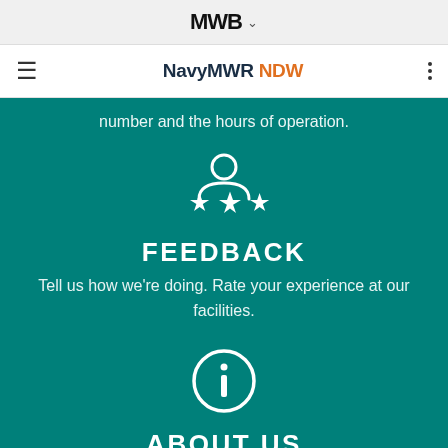MWB (logo)
NavyMWR NDW
number and the hours of operation.
[Figure (illustration): White person/user icon with three stars below — feedback icon]
FEEDBACK
Tell us how we're doing. Rate your experience at our facilities.
[Figure (illustration): White circle with letter i — information icon]
ABOUT US